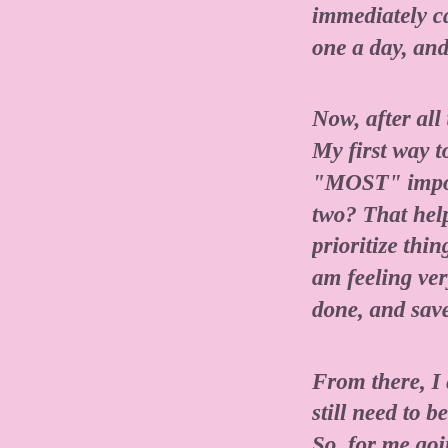immediately called in one a day, and come in Now, after all that bei My first way to "deal" "MOST" important to g two? That helps me a g prioritize things. Ther am feeling very lousy, done, and save others f From there, I allow "ti still need to be able to So, for me going into t whatever I feel like I m may have to do one or take on hour to watch